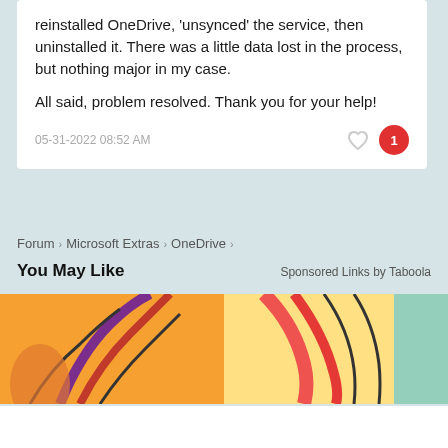reinstalled OneDrive, 'unsynced' the service, then uninstalled it. There was a little data lost in the process, but nothing major in my case.

All said, problem resolved. Thank you for your help!
05-31-2022 08:52 AM
Forum › Microsoft Extras › OneDrive ›
You May Like
Sponsored Links by Taboola
[Figure (illustration): Two colorful abstract illustrated images side by side with curved shapes in warm orange, purple, red and teal colors.]